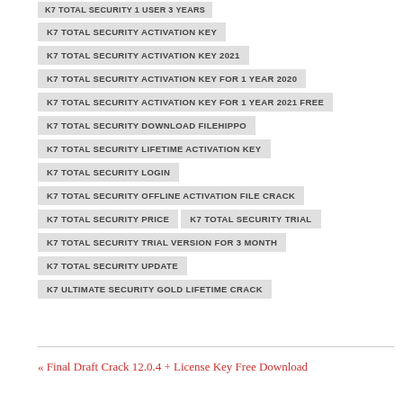K7 TOTAL SECURITY 1 USER 3 YEARS
K7 TOTAL SECURITY ACTIVATION KEY
K7 TOTAL SECURITY ACTIVATION KEY 2021
K7 TOTAL SECURITY ACTIVATION KEY FOR 1 YEAR 2020
K7 TOTAL SECURITY ACTIVATION KEY FOR 1 YEAR 2021 FREE
K7 TOTAL SECURITY DOWNLOAD FILEHIPPO
K7 TOTAL SECURITY LIFETIME ACTIVATION KEY
K7 TOTAL SECURITY LOGIN
K7 TOTAL SECURITY OFFLINE ACTIVATION FILE CRACK
K7 TOTAL SECURITY PRICE
K7 TOTAL SECURITY TRIAL
K7 TOTAL SECURITY TRIAL VERSION FOR 3 MONTH
K7 TOTAL SECURITY UPDATE
K7 ULTIMATE SECURITY GOLD LIFETIME CRACK
« Final Draft Crack 12.0.4 + License Key Free Download